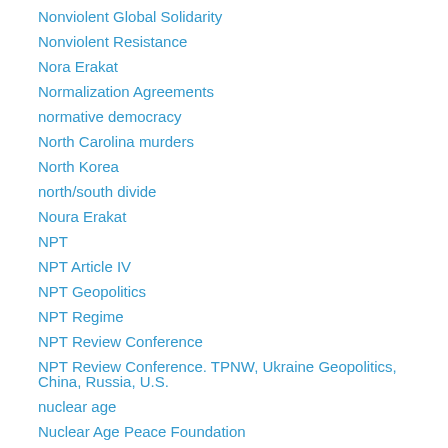Nonviolent Global Solidarity
Nonviolent Resistance
Nora Erakat
Normalization Agreements
normative democracy
North Carolina murders
North Korea
north/south divide
Noura Erakat
NPT
NPT Article IV
NPT Geopolitics
NPT Regime
NPT Review Conference
NPT Review Conference. TPNW, Ukraine Geopolitics, China, Russia, U.S.
nuclear age
Nuclear Age Peace Foundation
Nuclear Apartheid
Nuclear Ban Treaty